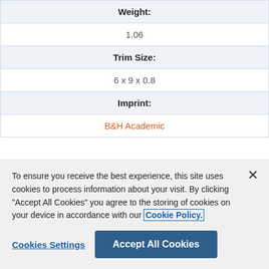| Weight: |
| 1.06 |
| Trim Size: |
| 6 x 9 x 0.8 |
| Imprint: |
| B&H Academic |
To ensure you receive the best experience, this site uses cookies to process information about your visit. By clicking "Accept All Cookies" you agree to the storing of cookies on your device in accordance with our Cookie Policy.